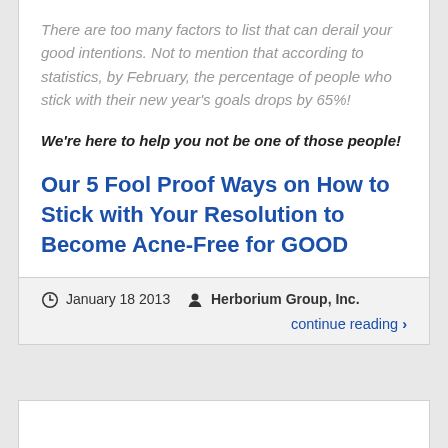There are too many factors to list that can derail your good intentions. Not to mention that according to statistics, by February, the percentage of people who stick with their new year's goals drops by 65%!
We're here to help you not be one of those people!
Our 5 Fool Proof Ways on How to Stick with Your Resolution to Become Acne-Free for GOOD
January 18 2013  Herborium Group, Inc.
continue reading ›